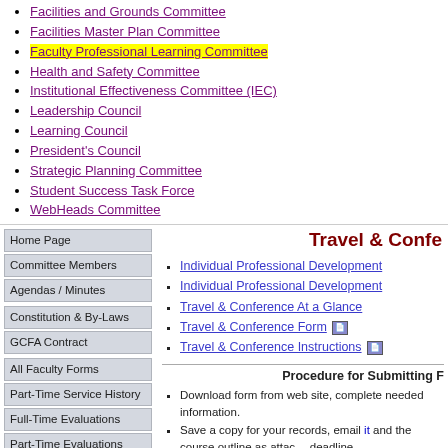Facilities and Grounds Committee
Facilities Master Plan Committee
Faculty Professional Learning Committee (highlighted)
Health and Safety Committee
Institutional Effectiveness Committee (IEC)
Leadership Council
Learning Council
President's Council
Strategic Planning Committee
Student Success Task Force
WebHeads Committee
Travel & Confe
Individual Professional Development
Individual Professional Development
Travel & Conference At a Glance
Travel & Conference Form
Travel & Conference Instructions
Procedure for Submitting F
Download form from web site, complete needed information.
Save a copy for your records, email it and the course outline as attac... deadline.
Attendance at meetings is optional, but advised.
PLEASE NOTE: TRAVEL AND CONFERENCE AMOUNTS ARE ACCOUNT